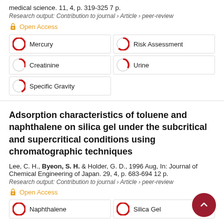medical science. 11, 4, p. 319-325 7 p.
Research output: Contribution to journal › Article › peer-review
Open Access
Mercury
Risk Assessment
Creatinine
Urine
Specific Gravity
Adsorption characteristics of toluene and naphthalene on silica gel under the subcritical and supercritical conditions using chromatographic techniques
Lee, C. H., Byeon, S. H. & Holder, G. D., 1996 Aug, In: Journal of Chemical Engineering of Japan. 29, 4, p. 683-694 12 p.
Research output: Contribution to journal › Article › peer-review
Open Access
Naphthalene
Silica Gel